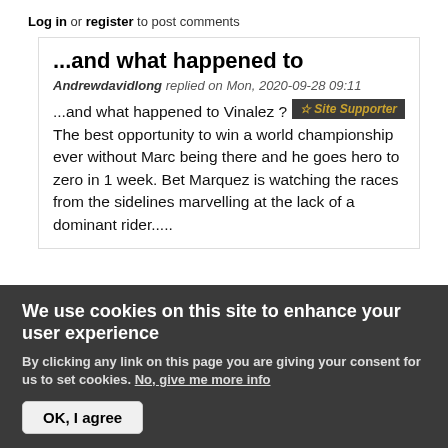Log in or register to post comments
...and what happened to
Andrewdavidlong replied on Mon, 2020-09-28 09:11
☆ Site Supporter
...and what happened to Vinalez ? The best opportunity to win a world championship ever without Marc being there and he goes hero to zero in 1 week. Bet Marquez is watching the races from the sidelines marvelling at the lack of a dominant rider.....
We use cookies on this site to enhance your user experience
By clicking any link on this page you are giving your consent for us to set cookies. No, give me more info
OK, I agree